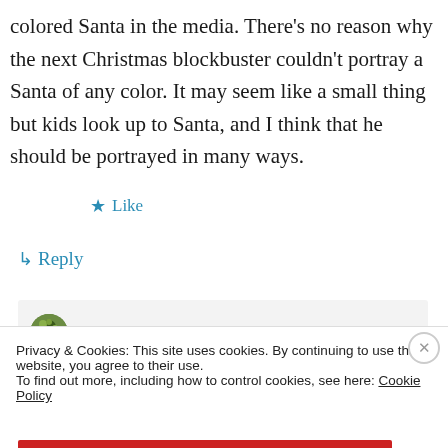colored Santa in the media. There's no reason why the next Christmas blockbuster couldn't portray a Santa of any color. It may seem like a small thing but kids look up to Santa, and I think that he should be portrayed in many ways.
★ Like
↳ Reply
justmylittleramblings on January 2, 2014 at
Privacy & Cookies: This site uses cookies. By continuing to use this website, you agree to their use.
To find out more, including how to control cookies, see here: Cookie Policy
Close and accept